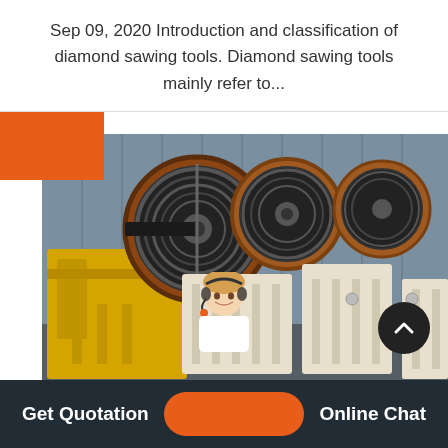Sep 09, 2020 Introduction and classification of diamond sawing tools. Diamond sawing tools mainly refer to...
[Figure (photo): Industrial jaw crusher machines lined up in a warehouse/factory. Large yellow and cream-colored heavy machinery with drive wheels and belts visible.]
Get Quotation | Online Chat